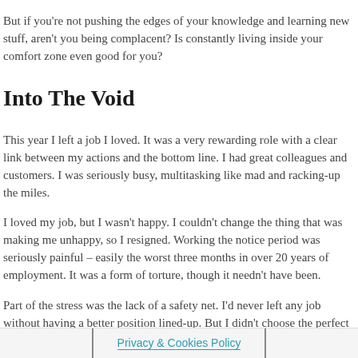But if you're not pushing the edges of your knowledge and learning new stuff, aren't you being complacent? Is constantly living inside your comfort zone even good for you?
Into The Void
This year I left a job I loved. It was a very rewarding role with a clear link between my actions and the bottom line. I had great colleagues and customers. I was seriously busy, multitasking like mad and racking-up the miles.
I loved my job, but I wasn't happy. I couldn't change the thing that was making me unhappy, so I resigned. Working the notice period was seriously painful – easily the worst three months in over 20 years of employment. It was a form of torture, though it needn't have been.
Part of the stress was the lack of a safety net. I'd never left any job without having a better position lined-up. But I didn't choose the perfect moment to resign (is th... I had no...
Privacy & Cookies Policy